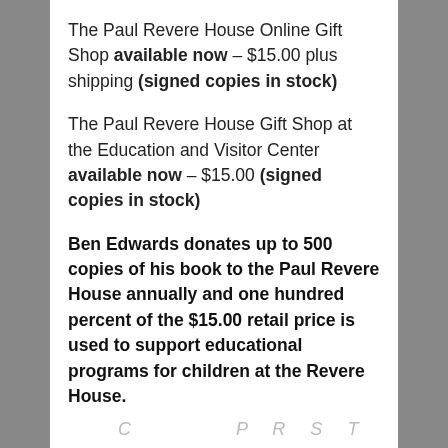The Paul Revere House Online Gift Shop available now – $15.00 plus shipping (signed copies in stock)
The Paul Revere House Gift Shop at the Education and Visitor Center available now – $15.00 (signed copies in stock)
Ben Edwards donates up to 500 copies of his book to the Paul Revere House annually and one hundred percent of the $15.00 retail price is used to support educational programs for children at the Revere House.